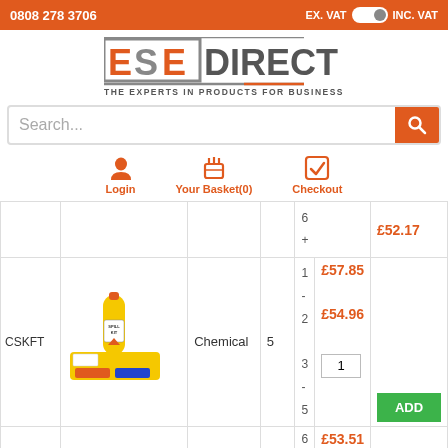0808 278 3706   EX. VAT [toggle] INC. VAT
[Figure (logo): ESE Direct logo with tagline THE EXPERTS IN PRODUCTS FOR BUSINESS]
Search...
Login   Your Basket(0)   Checkout
| SKU | Image | Type | Qty | Price Tiers | Qty Input | Action |
| --- | --- | --- | --- | --- | --- | --- |
|  |  |  |  | 6+ £52.17 |  |  |
| CSKFT | [spill kit image] | Chemical | 5 | 1-2 £57.85
3-5 £54.96
6+ £53.51 | 1 | ADD |